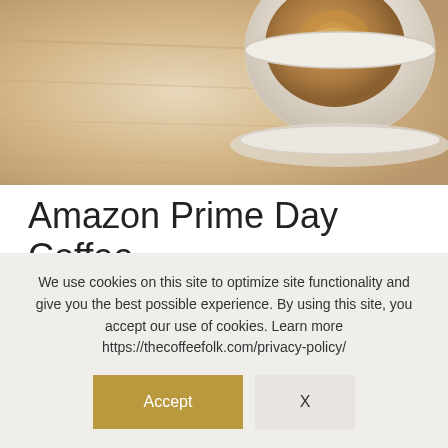[Figure (photo): Partial photo of a coffee cup with latte art on a wooden surface, cropped at the top]
Amazon Prime Day Coffee Deals 2022
2 Comments / Buy, Special Deals / By James Hyslop
Amazon Prime Day 2022 is almost upon us and no doubt there will be a ridiculous amount of Prime Day
We use cookies on this site to optimize site functionality and give you the best possible experience. By using this site, you accept our use of cookies. Learn more https://thecoffeefolk.com/privacy-policy/